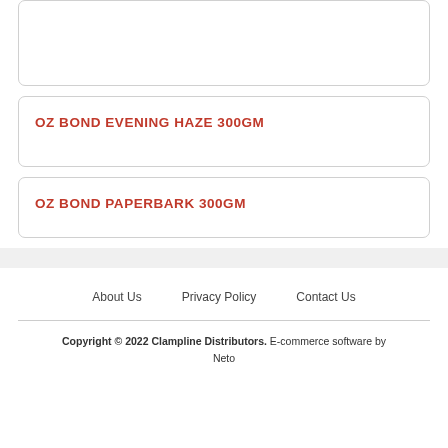OZ BOND EVENING HAZE 300GM
OZ BOND PAPERBARK 300GM
About Us   Privacy Policy   Contact Us
Copyright © 2022 Clampline Distributors. E-commerce software by Neto